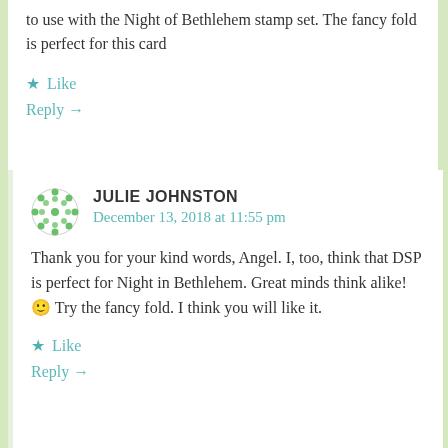to use with the Night of Bethlehem stamp set. The fancy fold is perfect for this card
Like
Reply →
JULIE JOHNSTON
December 13, 2018 at 11:55 pm
Thank you for your kind words, Angel. I, too, think that DSP is perfect for Night in Bethlehem. Great minds think alike! 🙂 Try the fancy fold. I think you will like it.
Like
Reply →